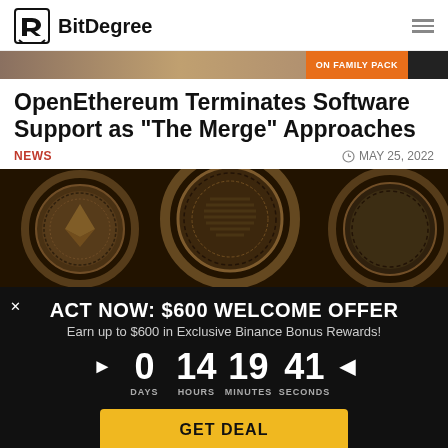BitDegree
[Figure (photo): Advertisement banner strip with orange label 'ON FAMILY PACK']
OpenEthereum Terminates Software Support as "The Merge" Approaches
NEWS   MAY 25, 2022
[Figure (photo): Close-up photo of gold/bronze cryptocurrency coins with circular ridged edges in dark background]
[Figure (infographic): Promotional banner: ACT NOW: $600 WELCOME OFFER. Earn up to $600 in Exclusive Binance Bonus Rewards! Countdown: 0 DAYS 14 HOURS 19 MINUTES 41 SECONDS. GET DEAL button.]